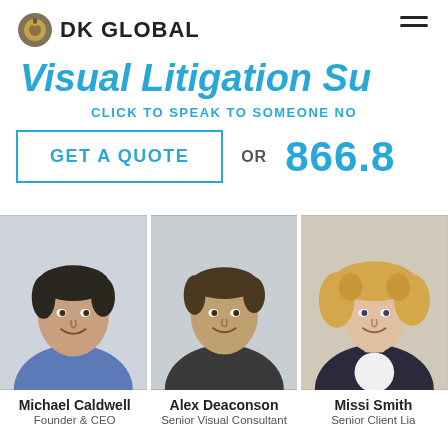DK GLOBAL
Visual Litigation Su…
CLICK TO SPEAK TO SOMEONE NO…
GET A QUOTE
OR   866.8…
[Figure (photo): Headshot of Michael Caldwell, man in blue shirt smiling, white brick background]
[Figure (photo): Headshot of Alex Deaconson, man in dark shirt smiling, white brick background]
[Figure (photo): Headshot of Missi Smith, woman with curly blonde hair smiling, wearing dark blazer]
Michael Caldwell
Founder & CEO
Alex Deaconson
Senior Visual Consultant
Missi Smith
Senior Client Lia…